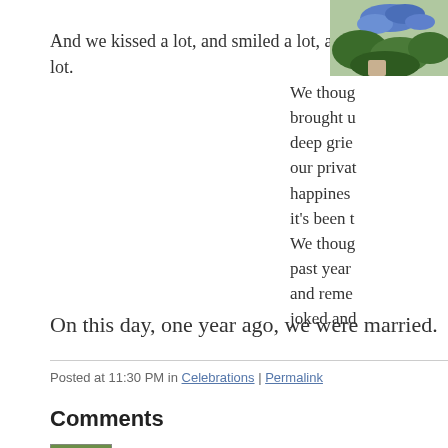And we kissed a lot, and smiled a lot, and touched a lot.
[Figure (photo): Partial photo of outdoor scene with blue flowers and green foliage, cropped at top right]
We though brought u deep grie our privat happines it's been We thou past year and reme joked and
On this day, one year ago, we were married.
Posted at 11:30 PM in Celebrations | Permalink
Comments
[Figure (illustration): Green avatar icon with leaf/cell pattern]
Hi there